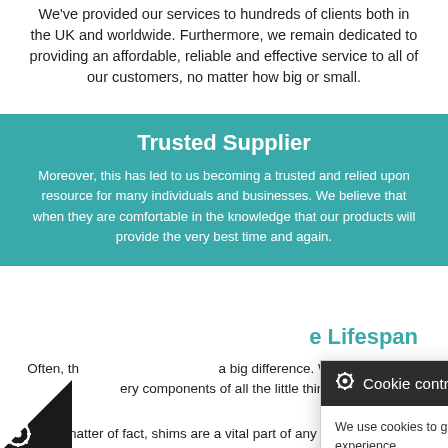We've provided our services to hundreds of clients both in the UK and worldwide. Furthermore, we remain dedicated to providing an affordable, reliable and effective service to all of our customers, no matter how big or small.
Trusted Supplier
Moreover, this has led to us becoming a trusted and relied upon resource for many individuals and businesses. We believe that when they are comfortable in the knowledge that our products will provide the very best time and again.
e Lifespan
Often, this can make a big difference. While we provide every components of all the little things.
As a matter of fact, shims are a vital part of any machinery
[Figure (screenshot): Cookie control popup overlay with dark header showing gear/cookie icon, 'Cookie control' text and X close button. Body text: 'We use cookies to give you the best online experience. Please let us know if you agree to all of these cookies.' with 'I'm fine with this' button and links for 'Information and Settings' and 'Cookie policy'.]